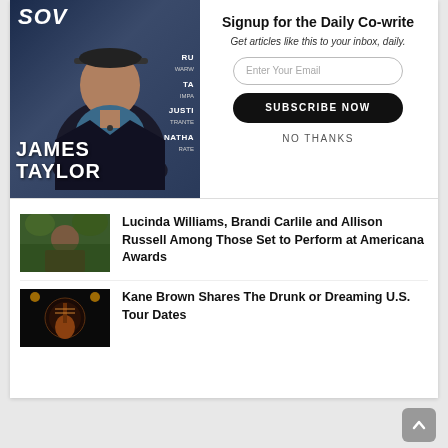[Figure (photo): Magazine cover showing a man in a dark jacket and cap, with 'JAMES TAYLOR' text overlay and publication title partially visible]
Signup for the Daily Co-write
Get articles like this to your inbox, daily.
Enter Your Email
SUBSCRIBE NOW
NO THANKS
[Figure (photo): Thumbnail image of a person outdoors in a forested setting]
Lucinda Williams, Brandi Carlile and Allison Russell Among Those Set to Perform at Americana Awards
[Figure (photo): Thumbnail image of Kane Brown performing on a dark stage]
Kane Brown Shares The Drunk or Dreaming U.S. Tour Dates